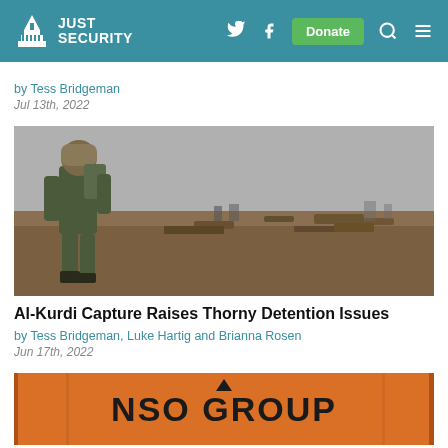Just Security
by Tess Bridgeman
Jul 13th, 2022
[Figure (photo): A soldier in military fatigues walking across a dry, war-torn landscape with debris scattered across the ground and an overcast sky.]
Al-Kurdi Capture Raises Thorny Detention Issues
by Tess Bridgeman, Luke Hartig and Brianna Rosen
Jun 17th, 2022
[Figure (photo): An orange banner or booth display with the NSO Group logo and name in dark letters.]